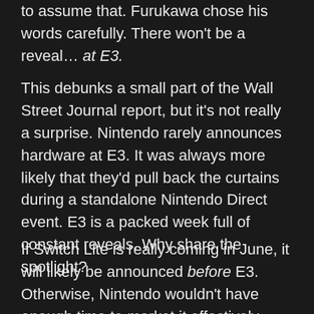to assume that. Furukawa chose his words carefully. There won't be a reveal… at E3.
This debunks a small part of the Wall Street Journal report, but it's not really a surprise. Nintendo rarely announces hardware at E3. It was always more likely that they'd pull back the curtains during a standalone Nintendo Direct event. E3 is a packed week full of constant reveals. Why share the spotlight?
If Switch Lite is really coming in June, it will likely be announced before E3. Otherwise, Nintendo wouldn't have enough time to market it effectively. "Summer," on the other hand, is a much wider window. If Switch Lite doesn't arrive until August, you'd be positioning while for the...